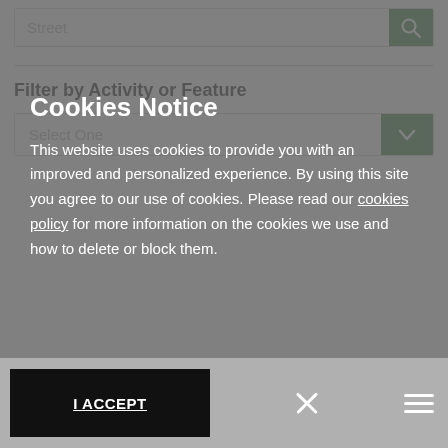Street
Filter by Activity or Feature
Select One
Cookies Notice
This website uses cookies to provide you with an improved and personalized experience. By using this site you agree to our use of cookies. Please read our cookies policy for more information on the cookies we use and how to delete or block them.
I ACCEPT